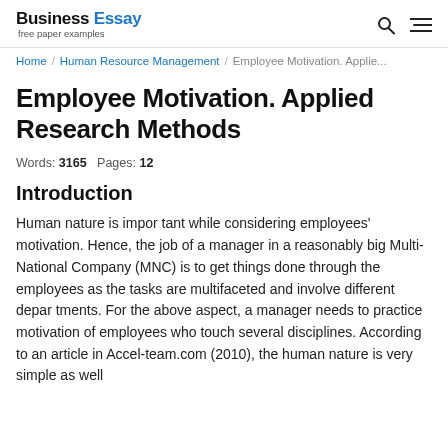Business Essay — free paper examples
Home / Human Resource Management / Employee Motivation. Applie...
Employee Motivation. Applied Research Methods
Words: 3165   Pages: 12
Introduction
Human nature is important while considering employees' motivation. Hence, the job of a manager in a reasonably big Multi-National Company (MNC) is to get things done through the employees as the tasks are multifaceted and involve different departments. For the above aspect, a manager needs to practice motivation of employees who touch several disciplines. According to an article in Accel-team.com (2010), the human nature is very simple as well